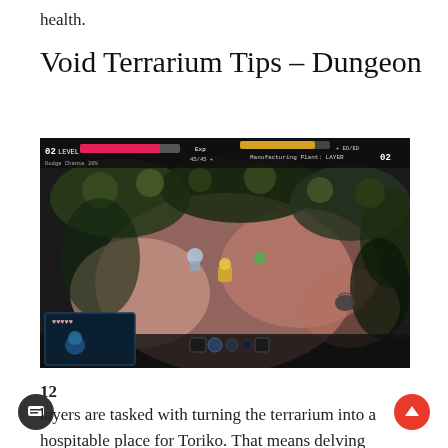health.
Void Terrarium Tips – Dungeon
[Figure (screenshot): Screenshot of Void Terrarium dungeon gameplay showing a top-down view of a dungeon level. HUD displays: 02 LEVEL, Dodge Chance 26%, HP bar (pink), XP bar, +XP/EX counter, Manufacturing Plant: LAYER 02. Colorful hexagonal tiles with player character, NPCs, and enemies visible. Bottom UI shows terrarium mini-view and item slots.]
12
Players are tasked with turning the terrarium into a hospitable place for Toriko. That means delving